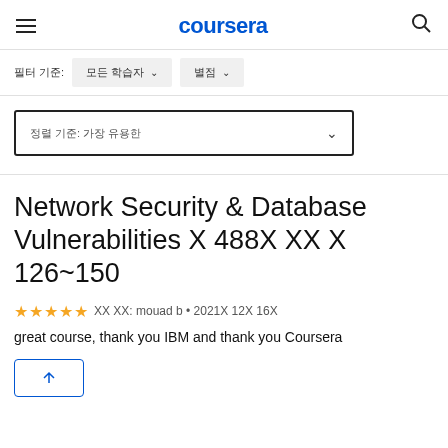coursera
필터 기준: 모든 학습자 ∨   별점 ∨
정렬 기준: 가장 유용한 ∨
Network Security & Database Vulnerabilities 에 488개 리뷰 중 126~150
★★★★★ 리뷰 작성: mouad b • 2021년 12월 16일
great course, thank you IBM and thank you Coursera